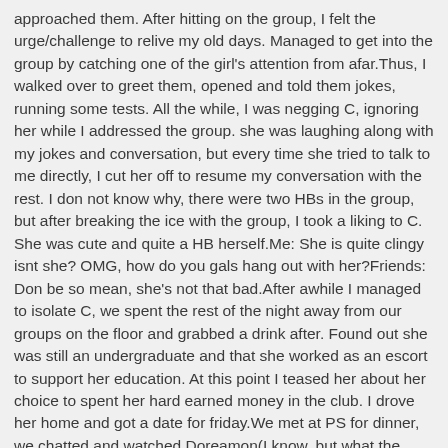approached them. After hitting on the group, I felt the urge/challenge to relive my old days. Managed to get into the group by catching one of the girl's attention from afar.Thus, I walked over to greet them, opened and told them jokes, running some tests. All the while, I was negging C, ignoring her while I addressed the group. she was laughing along with my jokes and conversation, but every time she tried to talk to me directly, I cut her off to resume my conversation with the rest. I don not know why, there were two HBs in the group, but after breaking the ice with the group, I took a liking to C. She was cute and quite a HB herself.Me: She is quite clingy isnt she? OMG, how do you gals hang out with her?Friends: Don be so mean, she's not that bad.After awhile I managed to isolate C, we spent the rest of the night away from our groups on the floor and grabbed a drink after. Found out she was still an undergraduate and that she worked as an escort to support her education. At this point I teased her about her choice to spent her hard earned money in the club. I drove her home and got a date for friday.We met at PS for dinner, we chatted and watched Doreamon(I know, but what the hell). I invited her for a function my company was having on saturday, which she agreed.( told her to take it as exposure for future in lieu of money)My colleagues were surprised when I brought C to the dinner(my girl was oversea), but did not comment on it. She was the life of the party and was able to communicate at ease of